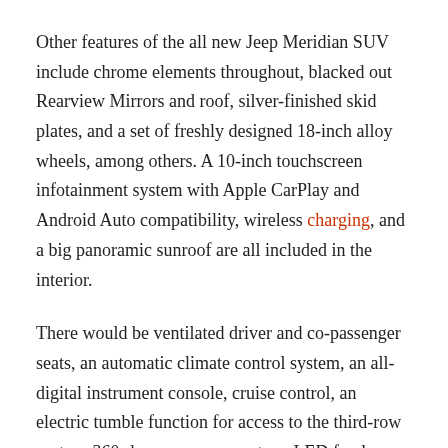Other features of the all new Jeep Meridian SUV include chrome elements throughout, blacked out Rearview Mirrors and roof, silver-finished skid plates, and a set of freshly designed 18-inch alloy wheels, among others. A 10-inch touchscreen infotainment system with Apple CarPlay and Android Auto compatibility, wireless charging, and a big panoramic sunroof are all included in the interior.
There would be ventilated driver and co-passenger seats, an automatic climate control system, an all-digital instrument console, cruise control, an electric tumble function for access to the third-row seats, a 360-degree camera system, LED fog lamps with cornering function, six airbags as standard